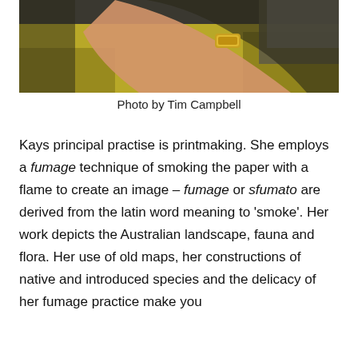[Figure (photo): A person's arm and hand reaching across a yellow-green fabric surface, wearing a gold cuff bracelet. The photo is cropped and shows a table or similar surface with the fabric draped over it.]
Photo by Tim Campbell
Kays principal practise is printmaking. She employs a fumage technique of smoking the paper with a flame to create an image – fumage or sfumato are derived from the latin word meaning to 'smoke'. Her work depicts the Australian landscape, fauna and flora. Her use of old maps, her constructions of native and introduced species and the delicacy of her fumage practice make you